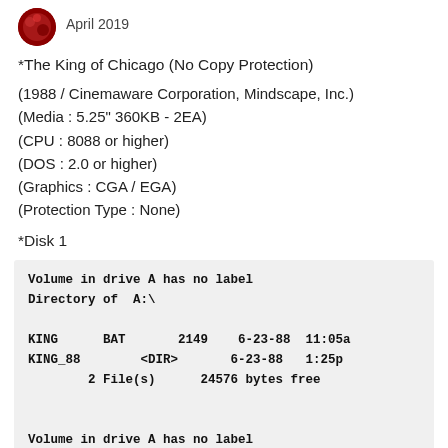April 2019
*The King of Chicago (No Copy Protection)
(1988 / Cinemaware Corporation, Mindscape, Inc.)
(Media : 5.25" 360KB - 2EA)
(CPU : 8088 or higher)
(DOS : 2.0 or higher)
(Graphics : CGA / EGA)
(Protection Type : None)
*Disk 1
Volume in drive A has no label
Directory of  A:\

KING      BAT       2149    6-23-88  11:05a
KING_88        <DIR>       6-23-88   1:25p
        2 File(s)      24576 bytes free


Volume in drive A has no label
Directory of  A:\KING_88